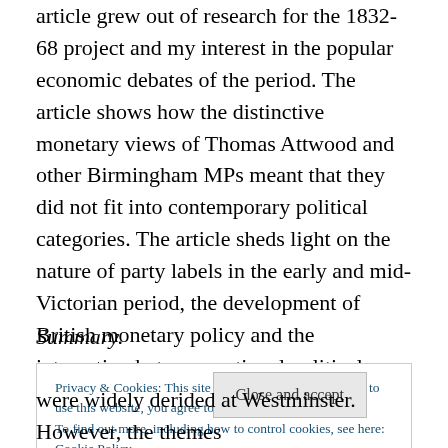article grew out of research for the 1832-68 project and my interest in the popular economic debates of the period. The article shows how the distinctive monetary views of Thomas Attwood and other Birmingham MPs meant that they did not fit into contemporary political categories. The article sheds light on the nature of party labels in the early and mid-Victorian period, the development of British monetary policy and the interaction between national political identities and local political cultures.
Summary.
Privacy & Cookies: This site uses cookies. By continuing to use this website, you agree to their use.
To find out more, including how to control cookies, see here: Cookie Policy
were widely derided at Westminster. However, the themes